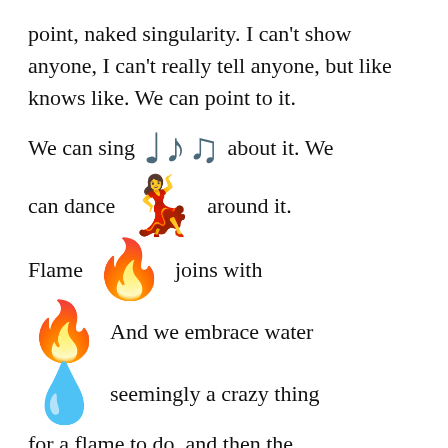point, naked singularity. I can't show anyone, I can't really tell anyone, but like knows like. We can point to it.
We can sing 🎵🎵🎵 about it. We
can dance 💃 around it.
Flame 🔥 joins with
🔥 And we embrace water
💧 seemingly a crazy thing
for a flame to do, and then the